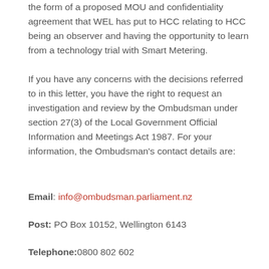the form of a proposed MOU and confidentiality agreement that WEL has put to HCC relating to HCC being an observer and having the opportunity to learn from a technology trial with Smart Metering.
If you have any concerns with the decisions referred to in this letter, you have the right to request an investigation and review by the Ombudsman under section 27(3) of the Local Government Official Information and Meetings Act 1987. For your information, the Ombudsman's contact details are:
Email: info@ombudsman.parliament.nz
Post: PO Box 10152, Wellington 6143
Telephone:0800 802 602